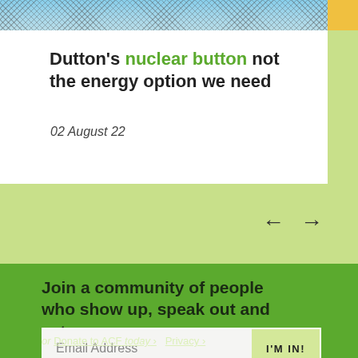[Figure (photo): Photo of a chain-link fence with blue sky background]
Dutton's nuclear button not the energy option we need
02 August 22
Join a community of people who show up, speak out and act
Email Address
I'M IN!
or Donate to ACF today › Privacy ›